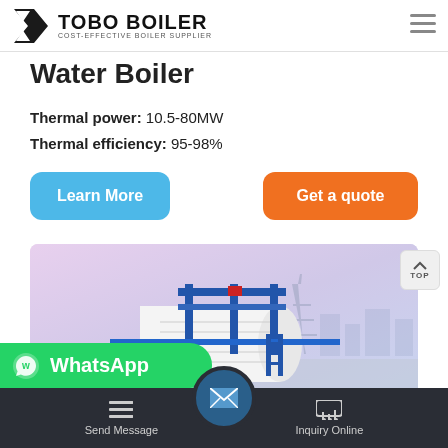TOBO BOILER — COST-EFFECTIVE BOILER SUPPLIER
Water Boiler
Thermal power: 10.5-80MW
Thermal efficiency: 95-98%
Learn More
Get a quote
[Figure (photo): Industrial hot water boiler with blue steel frame and white cylindrical tank, Eiffel Tower and city skyline visible in background]
WhatsApp
Send Message | Inquiry Online